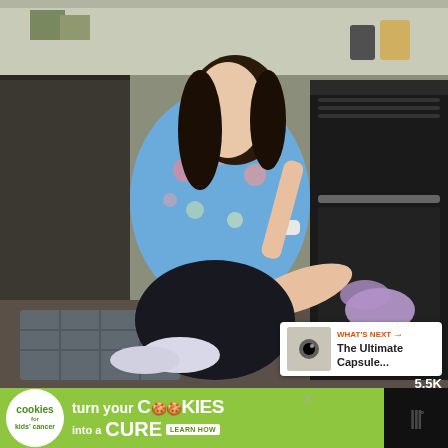[Figure (photo): A woman in a blue floral top crouching on a kitchen floor, cleaning the bottom of a black oven/appliance with a purple cloth. The kitchen has dark cabinets, a stove, and a mat with diamond pattern on the floor.]
5.5K
WHAT'S NEXT → The Ultimate Capsule...
turn your COOKIES into a CURE LEARN HOW